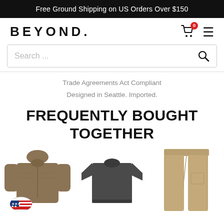Free Ground Shipping on US Orders Over $150
[Figure (logo): BEYOND brand logo with shopping cart icon (0 items) and hamburger menu]
[Figure (screenshot): Search bar with placeholder text 'Search ...' and magnifying glass icon]
Trade Agreements Act Compliant
Designed in Seattle. Imported.
FREQUENTLY BOUGHT TOGETHER
[Figure (photo): Three clothing products side by side: a coyote brown hoodie/fleece jacket, a dark grey t-shirt, and khaki/tan tactical pants. A US flag badge is visible at the bottom left.]